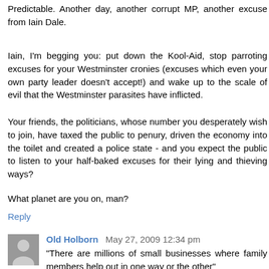Predictable. Another day, another corrupt MP, another excuse from Iain Dale.
Iain, I'm begging you: put down the Kool-Aid, stop parroting excuses for your Westminster cronies (excuses which even your own party leader doesn't accept!) and wake up to the scale of evil that the Westminster parasites have inflicted.
Your friends, the politicians, whose number you desperately wish to join, have taxed the public to penury, driven the economy into the toilet and created a police state - and you expect the public to listen to your half-baked excuses for their lying and thieving ways?
What planet are you on, man?
Reply
Old Holborn May 27, 2009 12:34 pm
"There are millions of small businesses where family members help out in one way or the other"